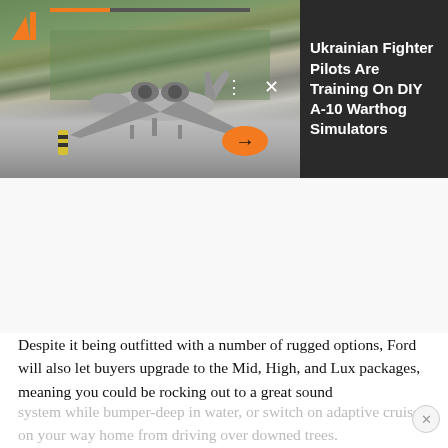[Figure (photo): A-10 Warthog aircraft on a runway/road with trees in background, viewed from front. Banner image for article.]
Ukrainian Fighter Pilots Are Training On DIY A-10 Warthog Simulators
Despite it being outfitted with a number of rugged options, Ford will also let buyers upgrade to the Mid, High, and Lux packages, meaning you could be rocking out to a great sound system while bumper-deep in water, or switch on adaptive cruise on your way home from driving over downed trees.